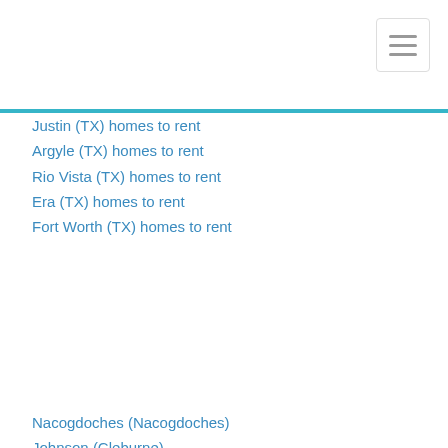Justin (TX) homes to rent
Argyle (TX) homes to rent
Rio Vista (TX) homes to rent
Era (TX) homes to rent
Fort Worth (TX) homes to rent
[Figure (other): Search by County banner button with magnifying glass icon]
Nacogdoches (Nacogdoches)
Johnson (Cleburne)
Angelina (Zavalla)
Cherokee (Wells)
Sabine (Milam)
Ellis (Midlothian)
Tarrant (Crowley)
Wise (Newark)
Denton (Justin)
Cooke (Era)